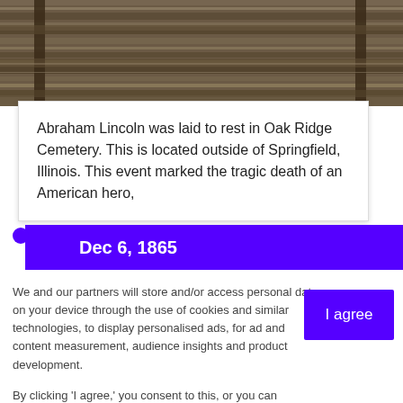[Figure (photo): Aerial or ground-level photo of a wooden fence or railroad structure with horizontal boards, muted brown tones]
Abraham Lincoln was laid to rest in Oak Ridge Cemetery. This is located outside of Springfield, Illinois. This event marked the tragic death of an American hero,
Dec 6, 1865
We and our partners will store and/or access personal data on your device through the use of cookies and similar technologies, to display personalised ads, for ad and content measurement, audience insights and product development.

By clicking 'I agree,' you consent to this, or you can manage your preferences.